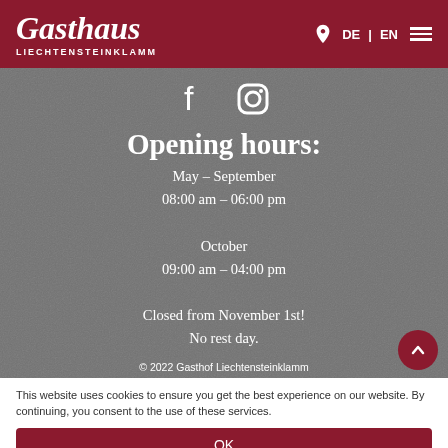Gasthaus Liechtensteinklamm — DE | EN
[Figure (logo): Gasthaus Liechtensteinklamm logo with Facebook and Instagram social icons]
Opening hours:
May – September
08:00 am – 06:00 pm

October
09:00 am – 04:00 pm

Closed from November 1st!
No rest day.
© 2022 Gasthof Liechtensteinklamm
This website uses cookies to ensure you get the best experience on our website. By continuing, you consent to the use of these services.
OK